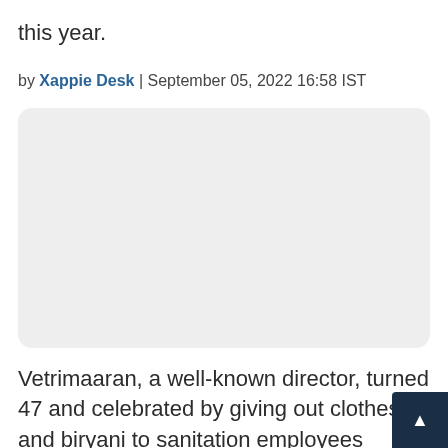this year.
by Xappie Desk | September 05, 2022 16:58 IST
[Figure (photo): A light gray rounded rectangle placeholder for an image]
Vetrimaaran, a well-known director, turned 47 and celebrated by giving out clothes and biryani to sanitation employees nearby. On social media, celebrities and followers wished